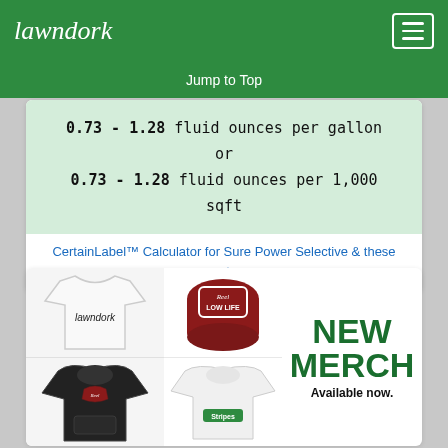lawndork
Jump to Top
0.73 - 1.28 fluid ounces per gallon or 0.73 - 1.28 fluid ounces per 1,000 sqft
CertainLabel™ Calculator for Sure Power Selective & these grass types
[Figure (photo): Merchandise banner showing lawndork t-shirt, red gaiter with 'Reel LOW LIFE' text, black hoodie, white hoodie with Stripes logo, and green NEW MERCH Available now. text]